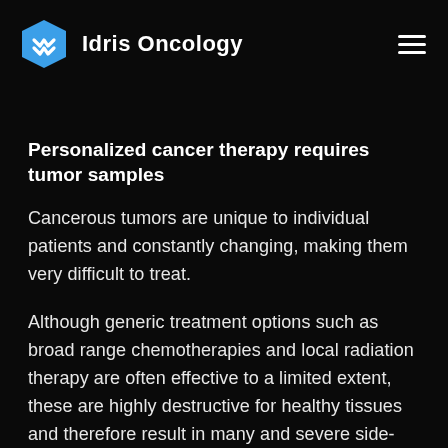Idris Oncology
Personalized cancer therapy requires tumor samples
Cancerous tumors are unique to individual patients and constantly changing, making them very difficult to treat.
Although generic treatment options such as broad range chemotherapies and local radiation therapy are often effective to a limited extent, these are highly destructive for healthy tissues and therefore result in many and severe side-effects. Fortunately,